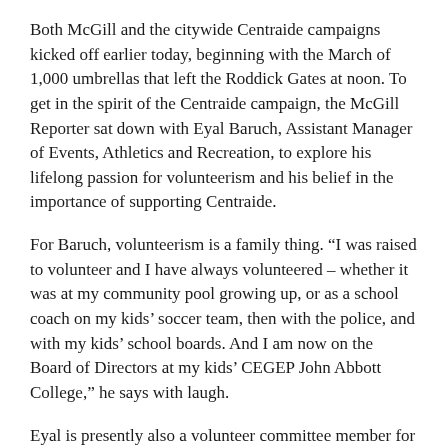Both McGill and the citywide Centraide campaigns kicked off earlier today, beginning with the March of 1,000 umbrellas that left the Roddick Gates at noon. To get in the spirit of the Centraide campaign, the McGill Reporter sat down with Eyal Baruch, Assistant Manager of Events, Athletics and Recreation, to explore his lifelong passion for volunteerism and his belief in the importance of supporting Centraide.
For Baruch, volunteerism is a family thing. “I was raised to volunteer and I have always volunteered – whether it was at my community pool growing up, or as a school coach on my kids’ soccer team, then with the police, and with my kids’ school boards. And I am now on the Board of Directors at my kids’ CEGEP John Abbott College,” he says with laugh.
Eyal is presently also a volunteer committee member for McGill’s Centraide campaign, and he is a longstanding volunteer with a Centraide-supported agency, Big Brothers Big Sisters of Montreal. In 2015, Big Brothers Big Sisters of Greater Montreal received $127, 237 in funding from Centraide, and the West